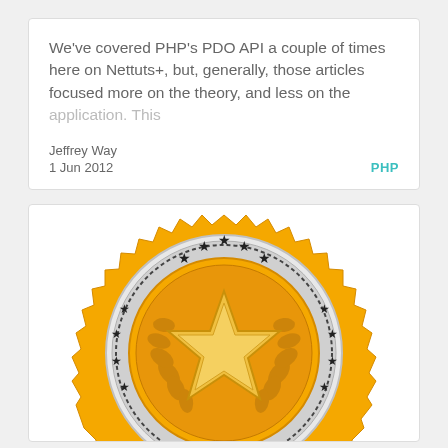We've covered PHP's PDO API a couple of times here on Nettuts+, but, generally, those articles focused more on the theory, and less on the application. This
Jeffrey Way
1 Jun 2012
PHP
[Figure (illustration): A gold and silver 'Best Choice' award badge/seal with a star in the center, laurel wreaths, and decorative stars around the border. The text 'BEST CHOICE' appears at the bottom in a curved banner. The image is partially cropped at the top.]